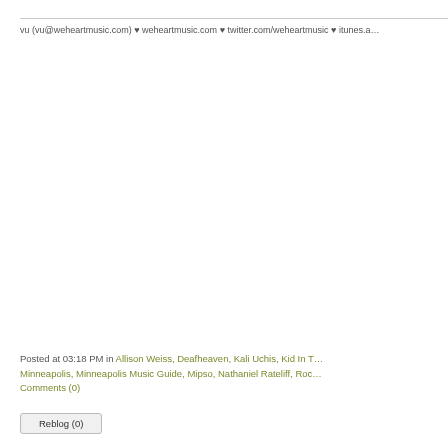vu (vu@weheartmusic.com) ♥ weheartmusic.com ♥ twitter.com/weheartmusic ♥ itunes.a…
Posted at 03:18 PM in Allison Weiss, Deafheaven, Kali Uchis, Kid In T… Minneapolis, Minneapolis Music Guide, Mipso, Nathaniel Rateliff, Roc… Comments (0)
Reblog (0)